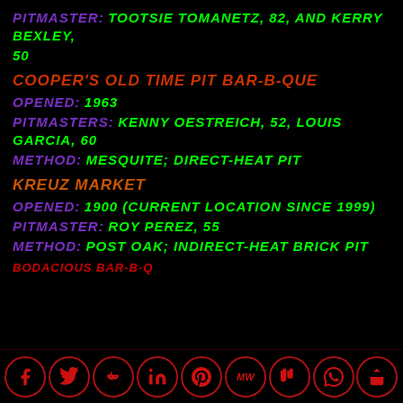PITMASTER: TOOTSIE TOMANETZ, 82, AND KERRY BEXLEY, 50
COOPER'S OLD TIME PIT BAR-B-QUE
OPENED: 1963
PITMASTERS: KENNY OESTREICH, 52, LOUIS GARCIA, 60
METHOD: MESQUITE; DIRECT-HEAT PIT
KREUZ MARKET
OPENED: 1900 (CURRENT LOCATION SINCE 1999)
PITMASTER: ROY PEREZ, 55
METHOD: POST OAK; INDIRECT-HEAT BRICK PIT
BODACIOUS BAR-B-Q
Social media icons: Facebook, Twitter, Reddit, LinkedIn, Pinterest, MW, Mix, WhatsApp, Share